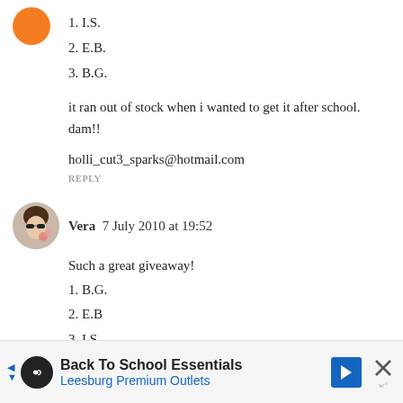1. I.S.
2. E.B.
3. B.G.
it ran out of stock when i wanted to get it after school. dam!!
holli_cut3_sparks@hotmail.com
REPLY
Vera  7 July 2010 at 19:52
Such a great giveaway!
1. B.G.
2. E.B
3. I.S
Thanks so much!
veflexra@gmail.com
Back To School Essentials Leesburg Premium Outlets